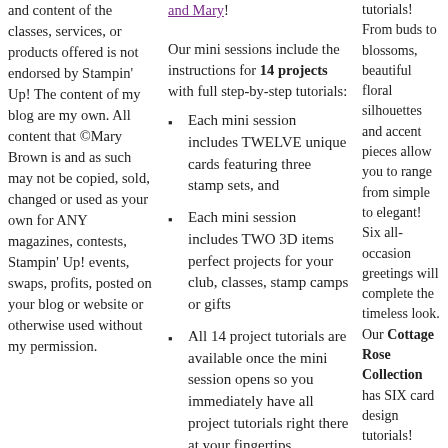and content of the classes, services, or products offered is not endorsed by Stampin' Up! The content of my blog are my own. All content that ©Mary Brown is and as such may not be copied, sold, changed or used as your own for ANY magazines, contests, Stampin' Up! events, swaps, profits, posted on your blog or website or otherwise used without my permission.
and Mary!
Our mini sessions include the instructions for 14 projects with full step-by-step tutorials:
Each mini session includes TWELVE unique cards featuring three stamp sets, and
Each mini session includes TWO 3D items perfect projects for your club, classes, stamp camps or gifts
All 14 project tutorials are available once the mini session opens so you immediately have all project tutorials right there at your fingertips
tutorials! From buds to blossoms, beautiful floral silhouettes and accent pieces allow you to range from simple to elegant!  Six all-occasion greetings will complete the timeless look. Our Cottage Rose Collection has SIX card design tutorials!  We've paired the Cottage Rose Stamp Set and Cottage Flower Dies with the new Abigail Rose Designer